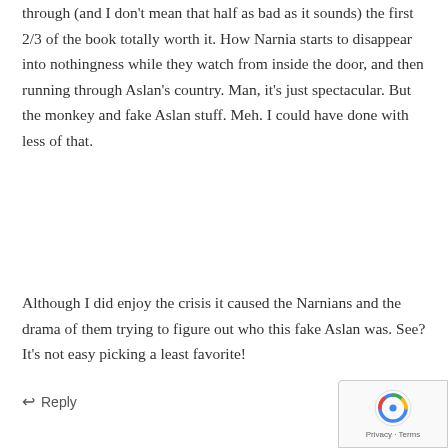through (and I don't mean that half as bad as it sounds) the first 2/3 of the book totally worth it. How Narnia starts to disappear into nothingness while they watch from inside the door, and then running through Aslan's country. Man, it's just spectacular. But the monkey and fake Aslan stuff. Meh. I could have done with less of that.
Although I did enjoy the crisis it caused the Narnians and the drama of them trying to figure out who this fake Aslan was. See? It's not easy picking a least favorite!
↩ Reply